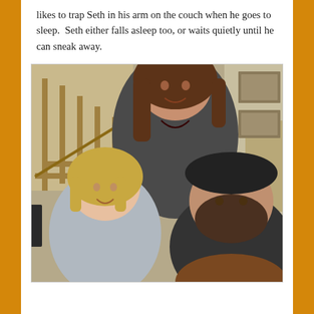likes to trap Seth in his arm on the couch when he goes to sleep.  Seth either falls asleep too, or waits quietly until he can sneak away.
[Figure (photo): A family photo showing three people: a smiling woman with long brown hair wearing a dark grey sweater standing in the back, a young blonde girl with pigtails smiling in the front left, and a bearded man wearing a dark cap in the front right. They are indoors near a staircase with framed pictures on the wall.]